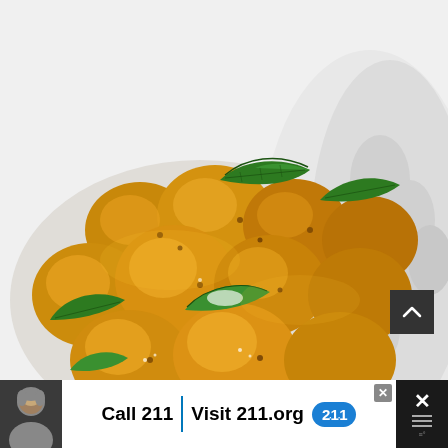[Figure (photo): Spiced baby potatoes cooked with curry leaves, mustard seeds and turmeric, served in a white decorative bowl. The potatoes are golden-yellow with visible spices and green curry leaves scattered throughout. The bowl has a decorative scalloped edge visible on the right side.]
[Figure (infographic): Advertisement banner at the bottom of the page. Shows a person's photo on the left, then white area with text 'Call 211 | Visit 211.org' and a blue circular badge with '2·1·1' text. There is an X close button in the upper right of the white area. On the far right is a dark panel with an X icon and a menu/temperature icon.]